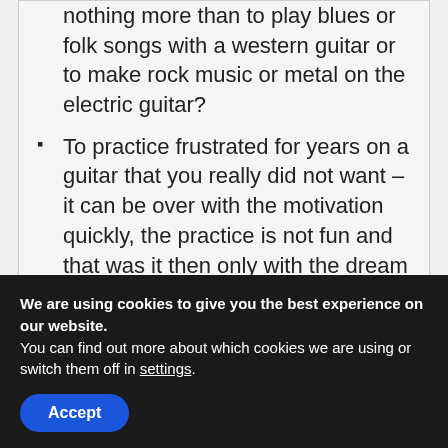Because what good is it, if you want nothing more than to play blues or folk songs with a western guitar or to make rock music or metal on the electric guitar?
To practice frustrated for years on a guitar that you really did not want – it can be over with the motivation quickly, the practice is not fun and that was it then only with the dream of making music.
That's why you should, first of all, ask yourself what kind of music you want...
We are using cookies to give you the best experience on our website.
You can find out more about which cookies we are using or switch them off in settings.